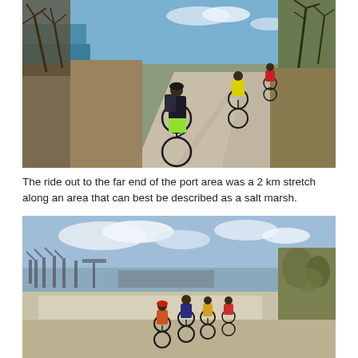[Figure (photo): Cyclists riding away from camera along a wide gravel/paved path through dry scrubland with the sea visible on the left. One rider in bright green shorts is in the foreground, others further ahead including one in a yellow vest.]
The ride out to the far end of the port area was a 2 km stretch along an area that can best be described as a salt marsh.
[Figure (photo): Cyclists riding along a sandy/muddy flat near a salt marsh with a port and large cranes visible across the water in the background under a partly cloudy sky. Dry scrubland on the right.]